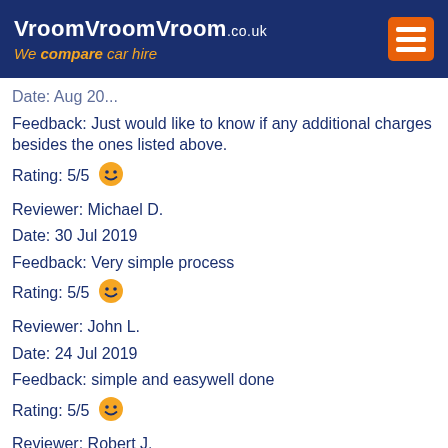[Figure (logo): VroomVroomVroom.co.uk logo with tagline 'We compare car hire' on dark blue header background with orange hamburger menu icon]
Feedback: Just would like to know if any additional charges besides the ones listed above.
Rating: 5/5 😊
Reviewer: Michael D.
Date: 30 Jul 2019
Feedback: Very simple process
Rating: 5/5 😊
Reviewer: John L.
Date: 24 Jul 2019
Feedback: simple and easywell done
Rating: 5/5 😊
Reviewer: Robert J.
Date: 20 Jul 2019
Feedback: you need a "make another booking?"